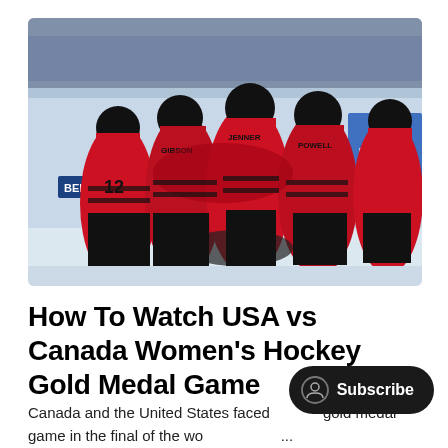[Figure (photo): Canada women's hockey team players in red and black jerseys with black helmets huddled together on the ice. Jersey numbers visible include 12. The Beijing 2022 Olympics branding is visible on the boards in the background. The ice rink boards and crowd are visible.]
How To Watch USA vs Canada Women's Hockey Gold Medal Game
Canada and the United States faced off in a gold medal game in the final of the wo...